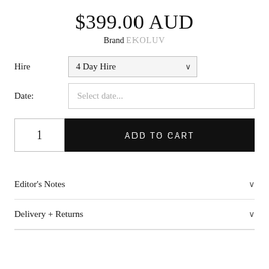$399.00 AUD
Brand EKOLUV
Hire  4 Day Hire
Date:  Select date...
1  ADD TO CART
Editor's Notes
Delivery + Returns